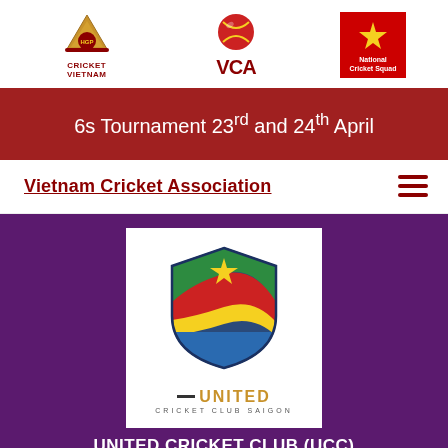[Figure (logo): Three logos: Cricket Vietnam (HGP hat logo with text), VCA (cricket ball with VCA text), National Cricket Squad (red square with star and text)]
6s Tournament 23rd and 24th April
Vietnam Cricket Association
[Figure (logo): United Cricket Club Saigon logo: shield with green, red, yellow, blue sections and gold star, with text UNITED CRICKET CLUB SAIGON]
UNITED CRICKET CLUB (UCC)